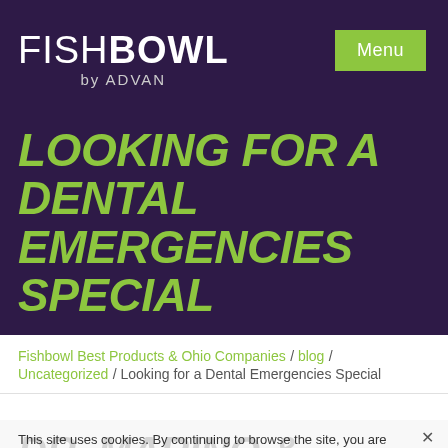FISHBOWL by ADVAN  Menu
LOOKING FOR A DENTAL EMERGENCIES SPECIAL
Fishbowl Best Products & Ohio Companies / blog / Uncategorized / Looking for a Dental Emergencies Special
DR. MARINO & ASSOCIATES AND
This site uses cookies. By continuing to browse the site, you are agreeing to our use of cookies.
OK   PRIVACY POLICY